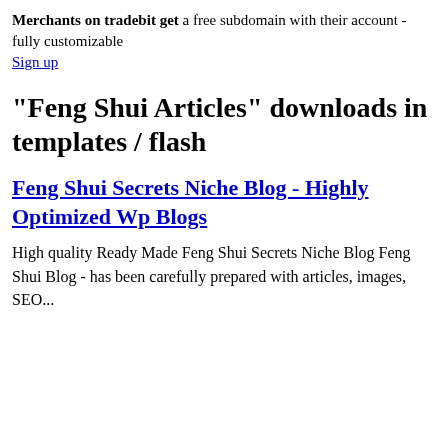Merchants on tradebit get a free subdomain with their account - fully customizable
Sign up
"Feng Shui Articles" downloads in templates / flash
Feng Shui Secrets Niche Blog - Highly Optimized Wp Blogs
High quality Ready Made Feng Shui Secrets Niche Blog Feng Shui Blog - has been carefully prepared with articles, images, SEO...